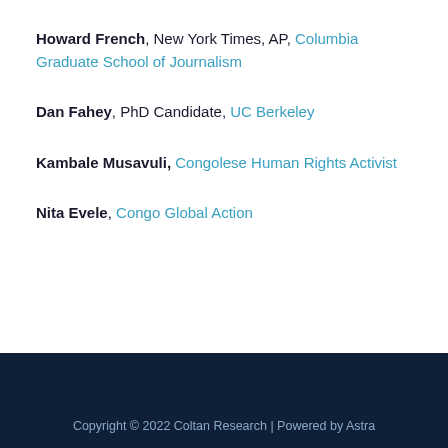Howard French, New York Times, AP, Columbia Graduate School of Journalism
Dan Fahey, PhD Candidate, UC Berkeley
Kambale Musavuli, Congolese Human Rights Activist
Nita Evele, Congo Global Action
Copyright © 2022 Coltan Research | Powered by Astra